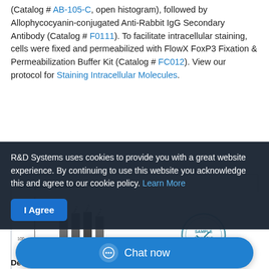(Catalog # AB-105-C, open histogram), followed by Allophycocyanin-conjugated Anti-Rabbit IgG Secondary Antibody (Catalog # F0111). To facilitate intracellular staining, cells were fixed and permeabilized with FlowX FoxP3 Fixation & Permeabilization Buffer Kit (Catalog # FC012). View our protocol for Staining Intracellular Molecules.
Simple Western
[Figure (other): Simple Western lane view chart showing protein bands, partially obscured by cookie consent overlay. A circular 'Sample Available' stamp watermark is visible.]
Detection of Human Eps...
Western lane view shows lysates of HeLa human cervical epithelial...
R&D Systems uses cookies to provide you with a great website experience. By continuing to use this website you acknowledge this and agree to our cookie policy. Learn More
I Agree
Chat now